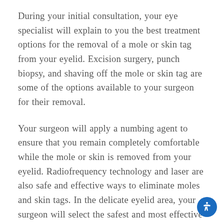During your initial consultation, your eye specialist will explain to you the best treatment options for the removal of a mole or skin tag from your eyelid. Excision surgery, punch biopsy, and shaving off the mole or skin tag are some of the options available to your surgeon for their removal.
Your surgeon will apply a numbing agent to ensure that you remain completely comfortable while the mole or skin is removed from your eyelid. Radiofrequency technology and laser are also safe and effective ways to eliminate moles and skin tags. In the delicate eyelid area, your surgeon will select the safest and most effective treatment option for them.